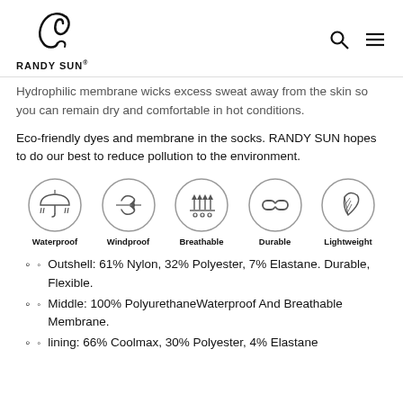RANDY SUN®
Hydrophilic membrane wicks excess sweat away from the skin so you can remain dry and comfortable in hot conditions.
Eco-friendly dyes and membrane in the socks. RANDY SUN hopes to do our best to reduce pollution to the environment.
[Figure (infographic): Five circular icons representing product features: Waterproof (umbrella icon), Windproof (wind arrows icon), Breathable (arrows and droplets icon), Durable (chain link icon), Lightweight (feather icon)]
Outshell: 61% Nylon, 32% Polyester, 7% Elastane. Durable, Flexible.
Middle: 100% PolyurethaneWaterproof And Breathable Membrane.
lining: 66% Coolmax, 30% Polyester, 4% Elastane